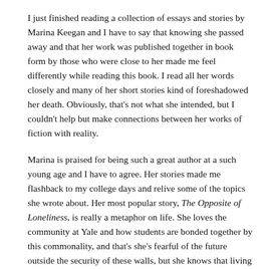I just finished reading a collection of essays and stories by Marina Keegan and I have to say that knowing she passed away and that her work was published together in book form by those who were close to her made me feel differently while reading this book. I read all her words closely and many of her short stories kind of foreshadowed her death. Obviously, that's not what she intended, but I couldn't help but make connections between her works of fiction with reality.
Marina is praised for being such a great author at a such young age and I have to agree. Her stories made me flashback to my college days and relive some of the topics she wrote about. Her most popular story, The Opposite of Loneliness, is really a metaphor on life. She loves the community at Yale and how students are bonded together by this commonality, and that's she's fearful of the future outside the security of these walls, but she knows that living in the present and what is to come